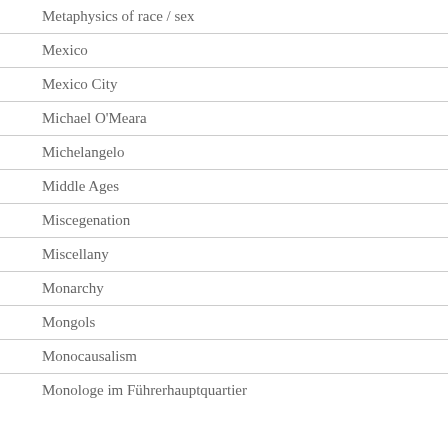Metaphysics of race / sex
Mexico
Mexico City
Michael O'Meara
Michelangelo
Middle Ages
Miscegenation
Miscellany
Monarchy
Mongols
Monocausalism
Monologe im Führerhauptquartier